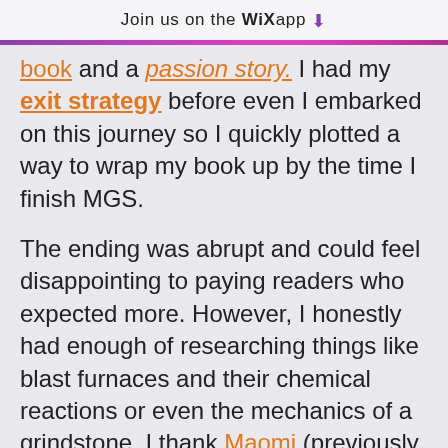Join us on the WiX app ⬇
book and a passion story. I had my exit strategy before even I embarked on this journey so I quickly plotted a way to wrap my book up by the time I finish MGS.

The ending was abrupt and could feel disappointing to paying readers who expected more. However, I honestly had enough of researching things like blast furnaces and their chemical reactions or even the mechanics of a grindstone. I thank Maomi (previously known as Momocatt) for encouraging me to explore different genres. Kindgom Building and Virtual Reality were some of the things she urged me to explore because she thought I would do well